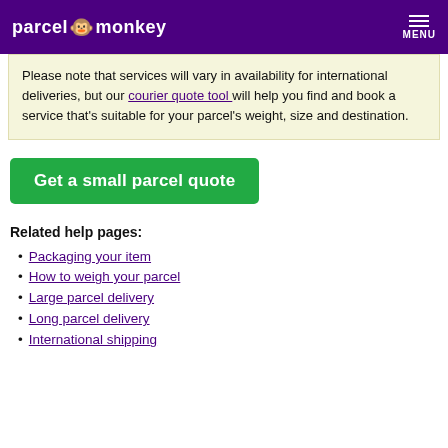parcel monkey  MENU
Please note that services will vary in availability for international deliveries, but our courier quote tool will help you find and book a service that's suitable for your parcel's weight, size and destination.
Get a small parcel quote
Related help pages:
Packaging your item
How to weigh your parcel
Large parcel delivery
Long parcel delivery
International shipping